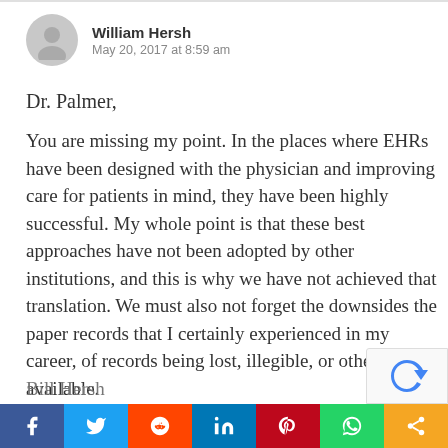William Hersh
May 20, 2017 at 8:59 am
Dr. Palmer,
You are missing my point. In the places where EHRs have been designed with the physician and improving care for patients in mind, they have been highly successful. My whole point is that these best approaches have not been adopted by other institutions, and this is why we have not achieved that translation. We must also not forget the downsides the paper records that I certainly experienced in my career, of records being lost, illegible, or otherwise not available.
Bill Hersh